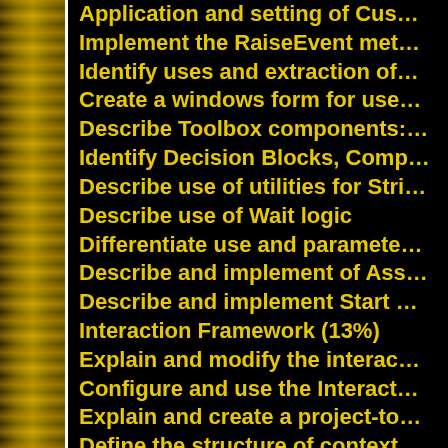Application and setting of Cus…
Implement the RaiseEvent met…
Identify uses and extraction of…
Create a windows form for use…
Describe Toolbox components:…
Identify Decision Blocks, Comp…
Describe use of utilities for Stri…
Describe use of Wait logic
Differentiate use and paramete…
Describe and implement of Ass…
Describe and implement Start…
Interaction Framework (13%)
Explain and modify the interac…
Configure and use the Interact…
Explain and create a project-to…
Define the structure of context…
Implement an activity compone…
Rules (3%)…